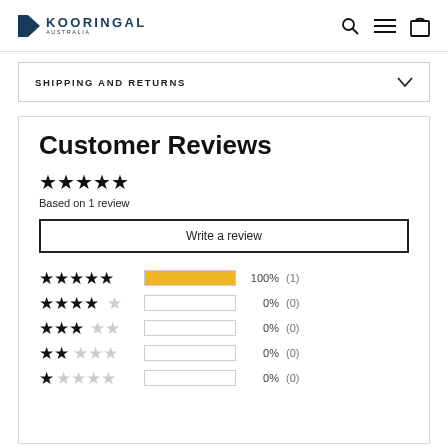KOORINGAL AUSTRALIA
SHIPPING AND RETURNS
Customer Reviews
Based on 1 review
Write a review
[Figure (infographic): Star rating breakdown: 5 stars 100% (1), 4 stars 0% (0), 3 stars 0% (0), 2 stars 0% (0), 1 star 0% (0)]